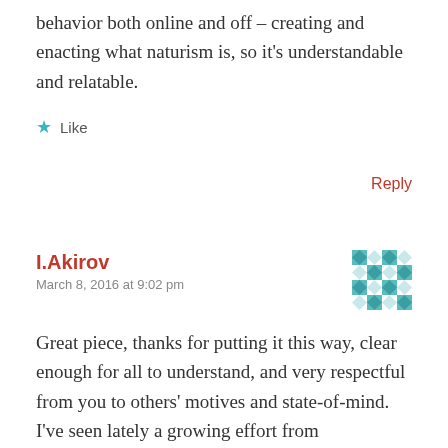behavior both online and off – creating and enacting what naturism is, so it's understandable and relatable.
★ Like
Reply
I.Akirov
March 8, 2016 at 9:02 pm
Great piece, thanks for putting it this way, clear enough for all to understand, and very respectful from you to others' motives and state-of-mind. I've seen lately a growing effort from naturist/nudist/nude-enthusiast/top-free community to educate those taking their first steps into this wonderful world and those already being part of it on how to guide the former into the right path. We have to know and accept that many